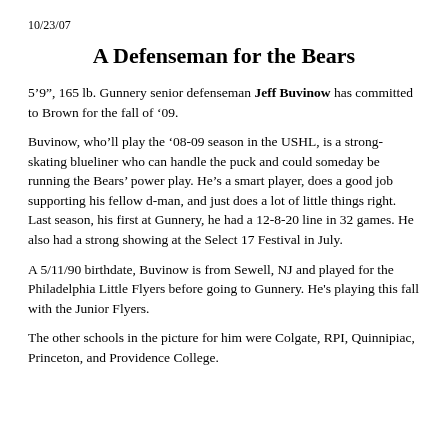10/23/07
A Defenseman for the Bears
5’9”, 165 lb. Gunnery senior defenseman Jeff Buvinow has committed to Brown for the fall of ‘09.
Buvinow, who’ll play the ‘08-09 season in the USHL, is a strong-skating blueliner who can handle the puck and could someday be running the Bears’ power play. He’s a smart player, does a good job supporting his fellow d-man, and just does a lot of little things right. Last season, his first at Gunnery, he had a 12-8-20 line in 32 games. He also had a strong showing at the Select 17 Festival in July.
A 5/11/90 birthdate, Buvinow is from Sewell, NJ and played for the Philadelphia Little Flyers before going to Gunnery. He's playing this fall with the Junior Flyers.
The other schools in the picture for him were Colgate, RPI, Quinnipiac, Princeton, and Providence College.